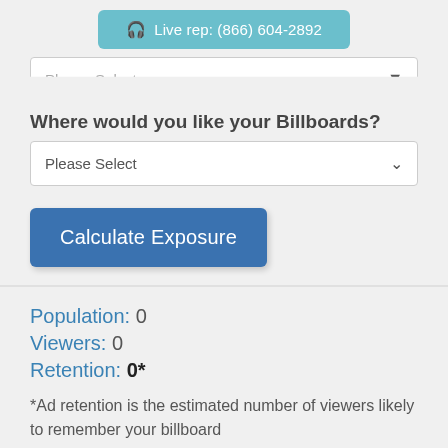Live rep: (866) 604-2892
Please Select
Where would you like your Billboards?
Please Select
Calculate Exposure
Population: 0
Viewers: 0
Retention: 0*
*Ad retention is the estimated number of viewers likely to remember your billboard